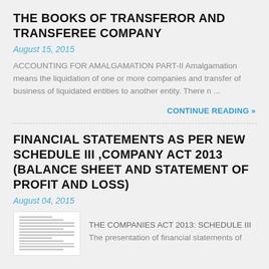THE BOOKS OF TRANSFEROR AND TRANSFEREE COMPANY
August 15, 2015
ACCOUNTING FOR AMALGAMATION PART-II Amalgamation means the liquidation of one or more companies and transfer of business of liquidated entities to another entity. There n ...
CONTINUE READING »
FINANCIAL STATEMENTS AS PER NEW SCHEDULE III ,COMPANY ACT 2013 (BALANCE SHEET AND STATEMENT OF PROFIT AND LOSS)
August 04, 2015
[Figure (other): Thumbnail image of a document showing financial statements table]
THE COMPANIES ACT 2013: SCHEDULE III The presentation of financial statements of